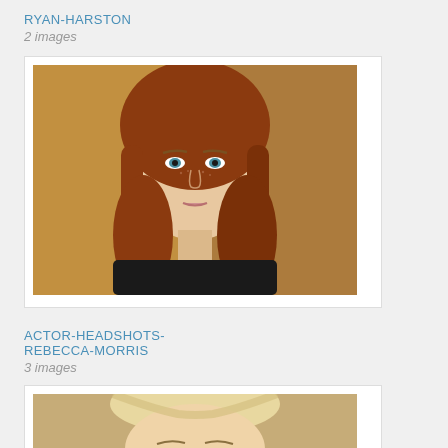RYAN-HARSTON
2 images
[Figure (photo): Headshot of a woman with long auburn/red hair, fair skin with freckles, blue eyes, wearing a dark top. Professional actor headshot with blurred warm background.]
ACTOR-HEADSHOTS-REBECCA-MORRIS
3 images
[Figure (photo): Partial headshot of a woman with blonde hair pulled back, teal/green eyes, wearing makeup. Professional actor headshot with warm blurred background. Image is cropped showing top portion of face.]